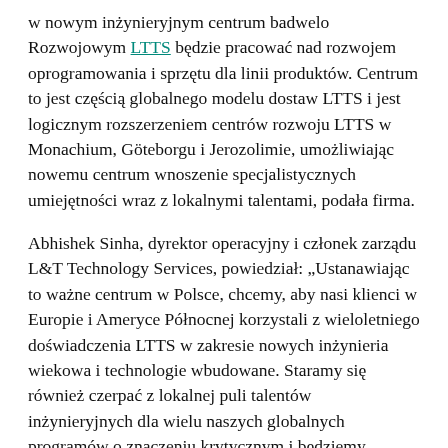w nowym inżynieryjnym centrum badwelo Rozwojowym LTTS będzie pracować nad rozwojem oprogramowania i sprzętu dla linii produktów. Centrum to jest częścią globalnego modelu dostaw LTTS i jest logicznym rozszerzeniem centrów rozwoju LTTS w Monachium, Göteborgu i Jerozolimie, umożliwiając nowemu centrum wnoszenie specjalistycznych umiejętności wraz z lokalnymi talentami, podała firma.
Abhishek Sinha, dyrektor operacyjny i członek zarządu L&T Technology Services, powiedział: „Ustanawiając to ważne centrum w Polsce, chcemy, aby nasi klienci w Europie i Ameryce Północnej korzystali z wieloletniego doświadczenia LTTS w zakresie nowych inżynieria wiekowa i technologie wbudowane. Staramy się również czerpać z lokalnej puli talentów inżynieryjnych dla wielu naszych globalnych programów o znaczeniu krytycznym i będziemy współpracować z lokalnymi władzami i środowiskiem akademickim w celu dalszego rozwoju